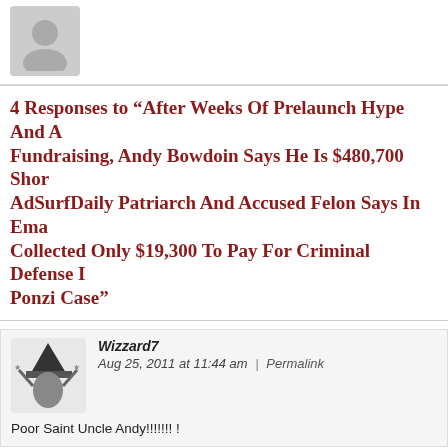[Figure (illustration): Gray placeholder avatar silhouette at top of page]
4 Responses to “After Weeks Of Prelaunch Hype And A Fundraising, Andy Bowdoin Says He Is $480,700 Short; AdSurfDaily Patriarch And Accused Felon Says In Email He Collected Only $19,300 To Pay For Criminal Defense In Ponzi Case”
Wizzard7
Aug 25, 2011 at 11:44 am | Permalink
Poor Saint Uncle Andy!!!!!!! !
Patrick Dunn
Aug 25, 2011 at 1:15 pm | Permalink
Wizzard7: Poor Saint Uncle Andy!!!!!!! !
I dunno ‘bout that – who else do you know that’s been gifted about a few weeks? Furthermore, if it is indeed gifts, not income, it’s incom